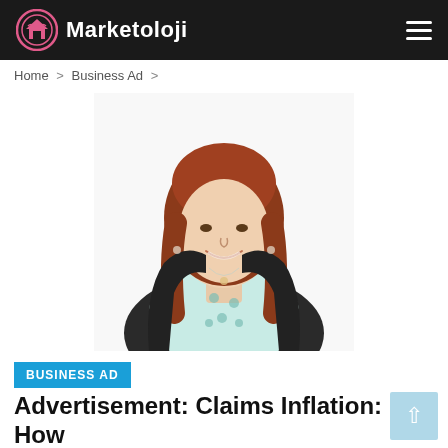Marketoloji
Home > Business Ad >
[Figure (photo): Professional headshot of a woman with red hair wearing a light teal patterned top and dark cardigan, smiling, on white background]
BUSINESS AD
Advertisement: Claims Inflation: How